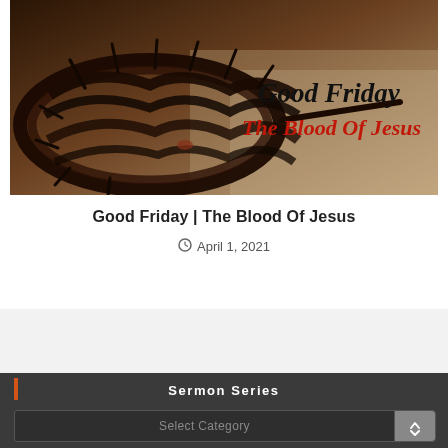[Figure (photo): Crown of thorns on a wooden surface with text overlay reading 'Good Friday' in black serif font and 'The Blood Of Jesus' in red italic font on a dark warm-toned background]
Good Friday | The Blood Of Jesus
April 1, 2021
Sermon Series
Select Category